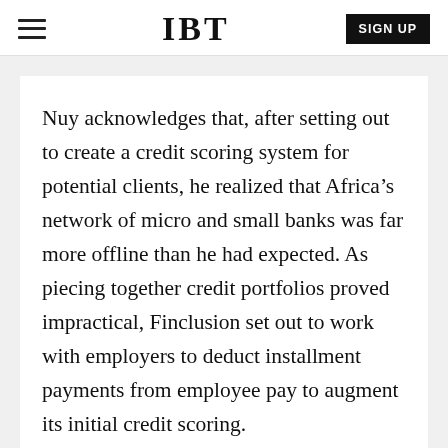IBT
Nuy acknowledges that, after setting out to create a credit scoring system for potential clients, he realized that Africa’s network of micro and small banks was far more offline than he had expected. As piecing together credit portfolios proved impractical, Finclusion set out to work with employers to deduct installment payments from employee pay to augment its initial credit scoring.